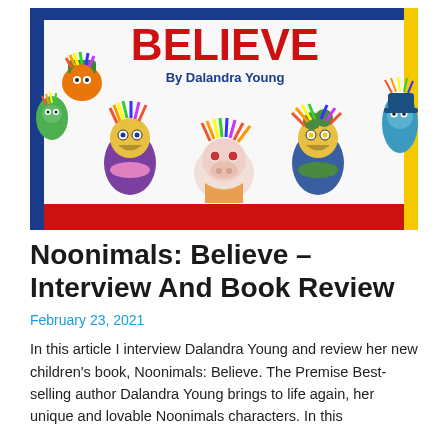[Figure (illustration): Book cover of 'Noonimals: Believe' by Dalandra Young featuring colorful cartoon animal characters with rainbow hair against a white background with blue, red, and yellow border accents]
Noonimals: Believe – Interview And Book Review
February 23, 2021
In this article I interview Dalandra Young and review her new children's book, Noonimals: Believe. The Premise Best-selling author Dalandra Young brings to life again, her unique and lovable Noonimals characters. In this